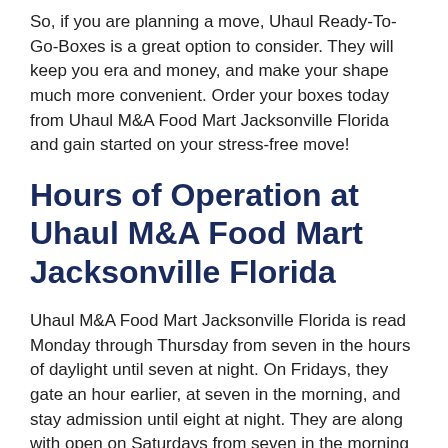So, if you are planning a move, Uhaul Ready-To-Go-Boxes is a great option to consider. They will keep you era and money, and make your shape much more convenient. Order your boxes today from Uhaul M&A Food Mart Jacksonville Florida and gain started on your stress-free move!
Hours of Operation at Uhaul M&A Food Mart Jacksonville Florida
Uhaul M&A Food Mart Jacksonville Florida is read Monday through Thursday from seven in the hours of daylight until seven at night. On Fridays, they gate an hour earlier, at seven in the morning, and stay admission until eight at night. They are along with open on Saturdays from seven in the morning